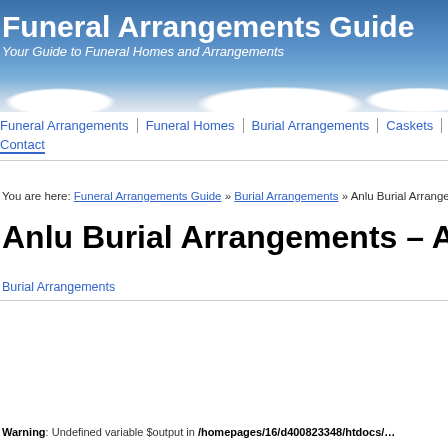Funeral Arrangements Guide
Your Guide to Funeral Homes and Arrangements
Funeral Arrangements | Funeral Homes | Burial Arrangements | Caskets | Urns | Contact
You are here: Funeral Arrangements Guide » Burial Arrangements » Anlu Burial Arrangements – Anlu…
Anlu Burial Arrangements – Anlu Burial Arrang…
Burial Arrangements
Warning: Undefined variable $output in /homepages/16/d400823348/htdocs/…